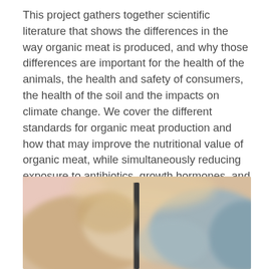This project gathers together scientific literature that shows the differences in the way organic meat is produced, and why those differences are important for the health of the animals, the health and safety of consumers, the health of the soil and the impacts on climate change. We cover the different standards for organic meat production and how that may improve the nutritional value of organic meat, while simultaneously reducing exposure to antibiotics, growth hormones, and pesticides. We also share evidence that organic meat production has fewer negative effects on the off-farm environment and can help reduce impacts on climate change by storing more carbon in pasture, which offsets greenhouse gas emissions.
[Figure (photo): Blurred close-up photograph of cattle, showing tan/beige and blue-grey colored animals, with a dark vertical pole or post visible in the center of the image. Image is soft-focused with a pink/warm area visible in the upper left.]